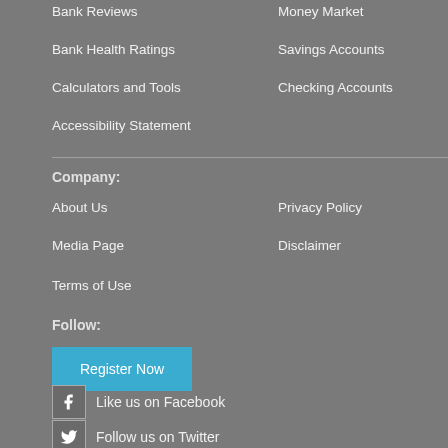Bank Reviews
Bank Health Ratings
Calculators and Tools
Accessibility Statement
Money Market
Savings Accounts
Checking Accounts
Company:
About Us
Media Page
Terms of Use
Privacy Policy
Disclaimer
Follow:
Register Now
Like us on Facebook
Follow us on Twitter
Featured On: